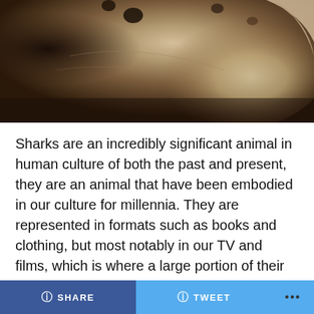[Figure (photo): Close-up photo of a shark's head and snout from an angle, showing pale yellowish-white skin with dark spots visible, against a blurred dark background.]
Sharks are an incredibly significant animal in human culture of both the past and present, they are an animal that have been embodied in our culture for millennia. They are represented in formats such as books and clothing, but most notably in our TV and films, which is where a large portion of their negative reputation stems from. A popular TV representation of sharks comes from Discovery Channel's 'Shark Week', and I believe sharks are possibly the only animal on our planet to have an entire week dedicated to them every year. However, despite this, we still know more collectively about the surface of the
SHARE   TWEET   ...